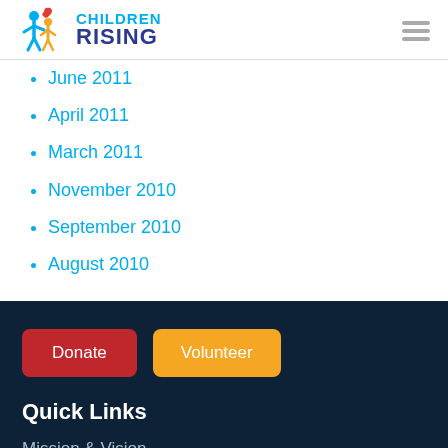[Figure (logo): Children Rising logo with two figures and a heart, teal and dark blue text]
June 2011
April 2011
March 2011
November 2010
September 2010
August 2010
Donate
Volunteer
Quick Links
Mission & Vision